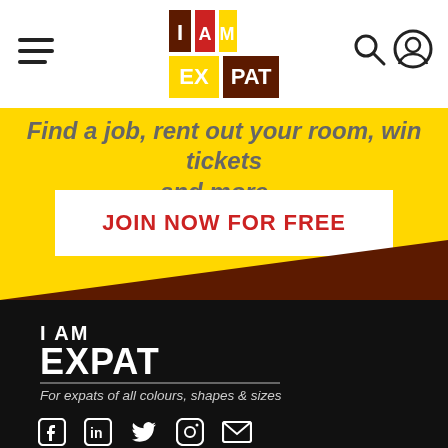[Figure (logo): I AM EXPAT logo in header, colorful letters on white background]
Find a job, rent out your room, win tickets and more...
JOIN NOW FOR FREE
[Figure (logo): I AM EXPAT white logo on dark background in footer]
For expats of all colours, shapes & sizes
[Figure (infographic): Social media icons: Facebook, LinkedIn, Twitter, Instagram, Email]